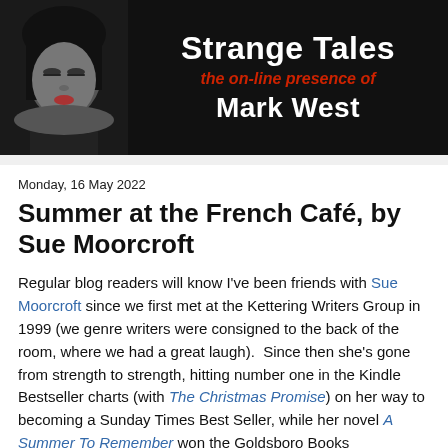[Figure (illustration): Blog header banner with black and white photo of a dark-haired woman on the left, and text 'Strange Tales / the on-line presence of / Mark West' on black background.]
Monday, 16 May 2022
Summer at the French Café, by Sue Moorcroft
Regular blog readers will know I've been friends with Sue Moorcroft since we first met at the Kettering Writers Group in 1999 (we genre writers were consigned to the back of the room, where we had a great laugh).  Since then she's gone from strength to strength, hitting number one in the Kindle Bestseller charts (with The Christmas Promise) on her way to becoming a Sunday Times Best Seller, while her novel A Summer To Remember won the Goldsboro Books Contemporary Romantic Novel Award 2020.  As well as